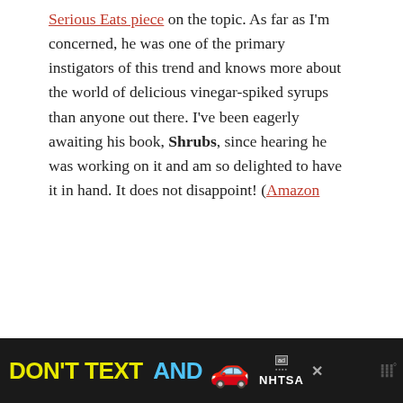Serious Eats piece on the topic. As far as I'm concerned, he was one of the primary instigators of this trend and knows more about the world of delicious vinegar-spiked syrups than anyone out there. I've been eagerly awaiting his book, Shrubs, since hearing he was working on it and am so delighted to have it in hand. It does not disappoint! (Amazon
[Figure (other): Advertisement banner at bottom of page: dark background with text 'DON'T TEXT AND' in yellow and cyan bold letters, a red car emoji, an NHTSA ad badge, and a close button. Watermark with 'w°' logo on right.]